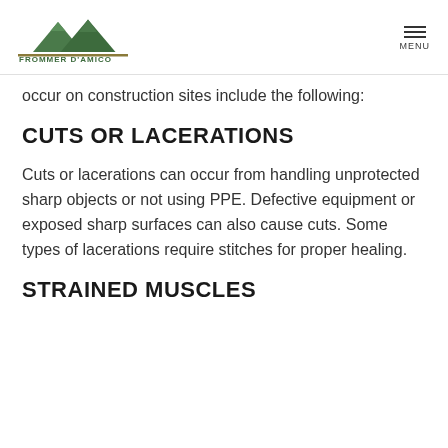FROMMER D'AMICO
occur on construction sites include the following:
CUTS OR LACERATIONS
Cuts or lacerations can occur from handling unprotected sharp objects or not using PPE. Defective equipment or exposed sharp surfaces can also cause cuts. Some types of lacerations require stitches for proper healing.
STRAINED MUSCLES